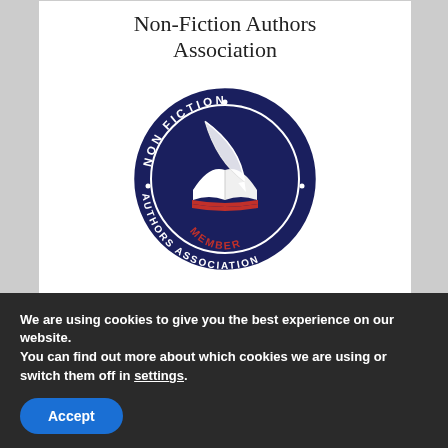Non-Fiction Authors Association
[Figure (logo): Non Fiction Authors Association Member circular seal/logo with dark navy blue background, open book, quill/feather pen, red accent lines, and text reading NON FICTION AUTHORS ASSOCIATION MEMBER around the circle]
We are using cookies to give you the best experience on our website.
You can find out more about which cookies we are using or switch them off in settings.
Accept